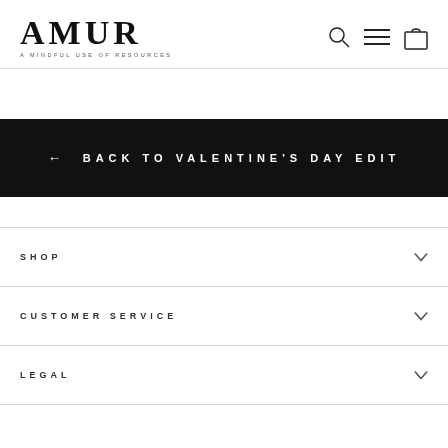AMUR — A MINDFUL USE OF RESOURCES
← BACK TO VALENTINE'S DAY EDIT
SHOP
CUSTOMER SERVICE
LEGAL